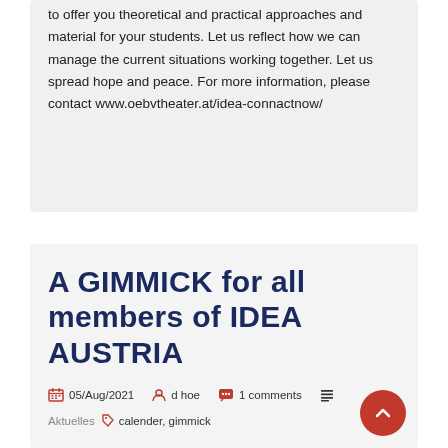to offer you theoretical and practical approaches and material for your students. Let us reflect how we can manage the current situations working together. Let us spread hope and peace. For more information, please contact www.oebvtheater.at/idea-connactnow/
A GIMMICK for all members of IDEA AUSTRIA
05/Aug/2021   d hoe   1 comments   Aktuelles   calender, gimmick